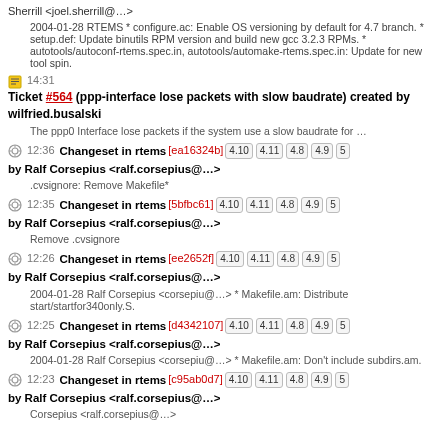Sherrill <joel.sherrill@…>
2004-01-28 RTEMS * configure.ac: Enable OS versioning by default for 4.7 branch. * setup.def: Update binutils RPM version and build new gcc 3.2.3 RPMs. * autotools/autoconf-rtems.spec.in, autotools/automake-rtems.spec.in: Update for new tool spin.
14:31 Ticket #564 (ppp-interface lose packets with slow baudrate) created by wilfried.busalski
The ppp0 Interface lose packets if the system use a slow baudrate for …
12:36 Changeset in rtems [ea16324b] 4.10 4.11 4.8 4.9 5 by Ralf Corsepius <ralf.corsepius@…>
.cvsignore: Remove Makefile*
12:35 Changeset in rtems [5bfbc61] 4.10 4.11 4.8 4.9 5 by Ralf Corsepius <ralf.corsepius@…>
Remove .cvsignore
12:26 Changeset in rtems [ee2652f] 4.10 4.11 4.8 4.9 5 by Ralf Corsepius <ralf.corsepius@…>
2004-01-28 Ralf Corsepius <corsepiu@…> * Makefile.am: Distribute start/startfor340only.S.
12:25 Changeset in rtems [d4342107] 4.10 4.11 4.8 4.9 5 by Ralf Corsepius <ralf.corsepius@…>
2004-01-28 Ralf Corsepius <corsepiu@…> * Makefile.am: Don't include subdirs.am.
12:23 Changeset in rtems [c95ab0d7] 4.10 4.11 4.8 4.9 5 by Ralf Corsepius <ralf.corsepius@…>